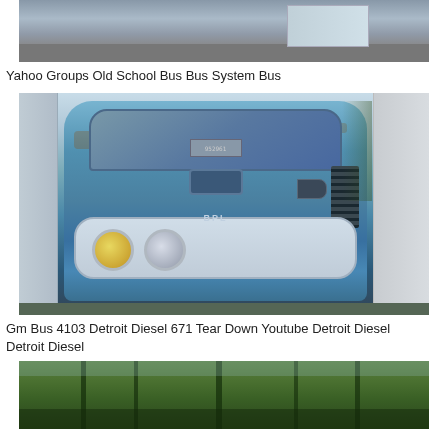[Figure (photo): Top portion of a bus photo, showing the side of a bus on a road]
Yahoo Groups Old School Bus Bus System Bus
[Figure (photo): Front view of a vintage GM Bus 4103, blue and white in color, showing headlights, windshield, and grille, with rust, parked between other vehicles]
Gm Bus 4103 Detroit Diesel 671 Tear Down Youtube Detroit Diesel Detroit Diesel
[Figure (photo): Forested area with trees, partial view of a structure or vehicle]